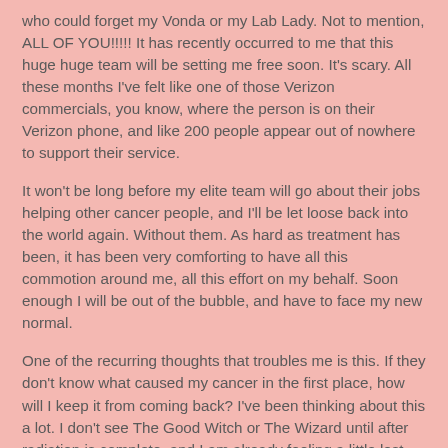who could forget my Vonda or my Lab Lady.  Not to mention, ALL OF YOU!!!!!  It has recently occurred to me that this huge huge team will be setting me free soon.  It's scary.  All these months I've felt like one of those Verizon commercials, you know, where the person is on their Verizon phone, and like 200 people appear out of nowhere to support their service.
It won't be long before my elite team will go about their jobs helping other cancer people, and I'll be let loose back into the world again.  Without them.  As hard as treatment has been, it has been very comforting to have all this commotion around me, all this effort on my behalf.  Soon enough I will be out of the bubble, and have to face my new normal.
One of the recurring thoughts that troubles me is this.  If they don't know what caused my cancer in the first place, how will I keep it from coming back?  I've been thinking about this a lot.  I don't see The Good Witch or The Wizard until after radiation is complete, and I am already feeling a little lost without them guarding over me.